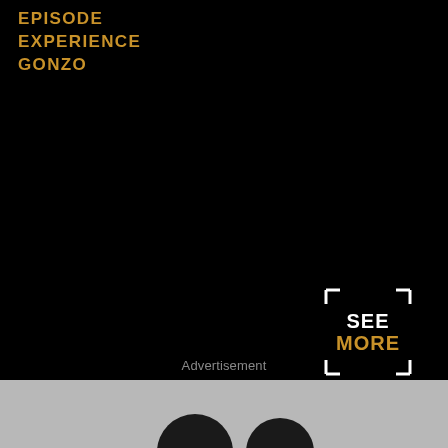EPISODE
EXPERIENCE
GONZO
[Figure (logo): SEE MORE badge with bracket corners, white SEE text and gold MORE text on black background]
Advertisement
[Figure (photo): Two people photographed from approximately the shoulders up against a light gray background, only tops of heads visible at bottom of frame]